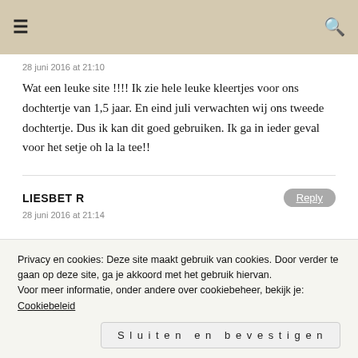Navigation bar with hamburger menu and search icon
28 juni 2016 at 21:10
Wat een leuke site !!!! Ik zie hele leuke kleertjes voor ons dochtertje van 1,5 jaar. En eind juli verwachten wij ons tweede dochtertje. Dus ik kan dit goed gebruiken. Ik ga in ieder geval voor het setje oh la la tee!!
LIESBET R
28 juni 2016 at 21:14
Privacy en cookies: Deze site maakt gebruik van cookies. Door verder te gaan op deze site, ga je akkoord met het gebruik hiervan. Voor meer informatie, onder andere over cookiebeheer, bekijk je: Cookiebeleid
Sluiten en bevestigen